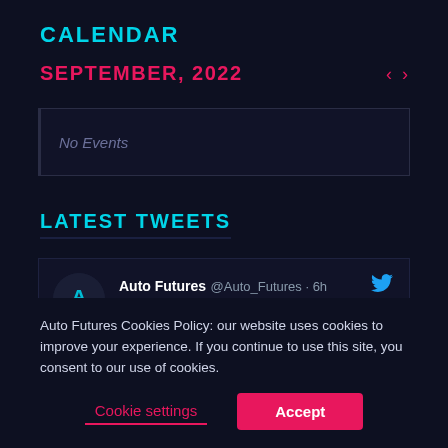CALENDAR
SEPTEMBER, 2022
No Events
LATEST TWEETS
Auto Futures @Auto_Futures · 6h
Weighing only 100 kilos and promising to be zippy and manoeuvrable around town, meet the Zapp EV i300.
Auto Futures Cookies Policy: our website uses cookies to improve your experience. If you continue to use this site, you consent to our use of cookies.
Cookie settings
Accept